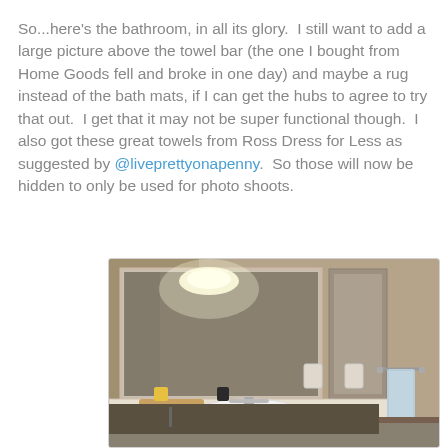So...here's the bathroom, in all its glory.  I still want to add a large picture above the towel bar (the one I bought from Home Goods fell and broke in one day) and maybe a rug instead of the bath mats, if I can get the hubs to agree to try that out.  I get that it may not be super functional though.  I also got these great towels from Ross Dress for Less as suggested by @liveprettyonapenny.  So those will now be hidden to only be used for photo shoots.
[Figure (photo): A bathroom interior showing a large mirror, vanity with sink, faucet, soap dispenser, toiletries on a tray, wall-mounted light fixture above mirror, cabinet to the right, towel bar with a light blue towel, and tan/brown tiled walls.]